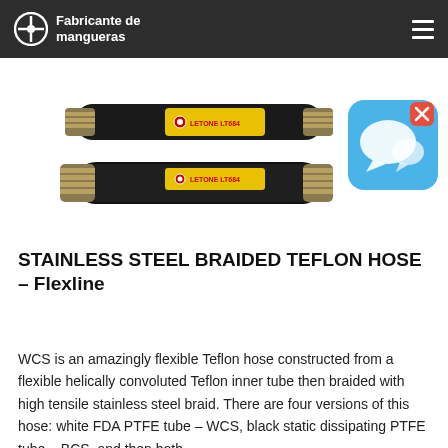Fabricante de mangueras
[Figure (photo): Two stainless steel braided Teflon hoses with yellow label reading LETONE LT684, shown in parallel, one above the other.]
[Figure (illustration): Blue chat/messaging app icon with speech bubbles, with an X close button in the top right corner.]
STAINLESS STEEL BRAIDED TEFLON HOSE - Flexline
WCS is an amazingly flexible Teflon hose constructed from a flexible helically convoluted Teflon inner tube then braided with high tensile stainless steel braid. There are four versions of this hose: white FDA PTFE tube – WCS, black static dissipating PTFE tube – BCS, and then both